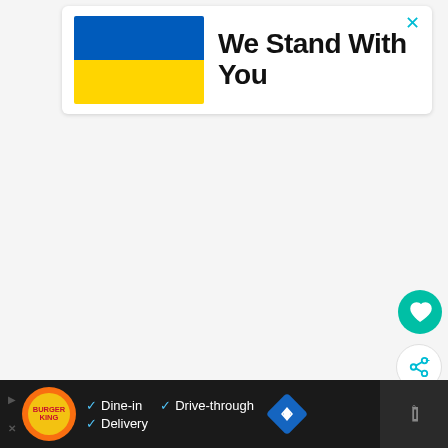[Figure (illustration): Ukrainian flag banner card with blue top half and yellow bottom half, showing 'We Stand With You' text and a cyan X close button in top-right]
We Stand With You
[Figure (infographic): Burger King advertisement banner at bottom showing logo, checkmarks for Dine-in, Drive-through, Delivery features with navigation diamond icon]